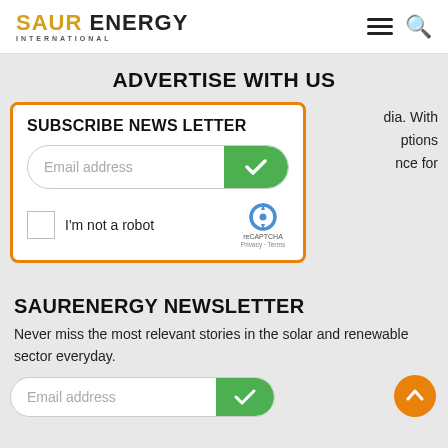[Figure (logo): Saur Energy International logo with hamburger menu and search icon]
ADVERTISE WITH US
[Figure (screenshot): Subscribe newsletter popup with email address field, green checkmark submit button, and reCAPTCHA checkbox. Partially overlapping text reading 'dia. With', 'ptions', 'nce for' on the right side.]
SAURENERGY NEWSLETTER
Never miss the most relevant stories in the solar and renewable sector everyday.
[Figure (screenshot): Email address input field with green checkmark button at bottom of page]